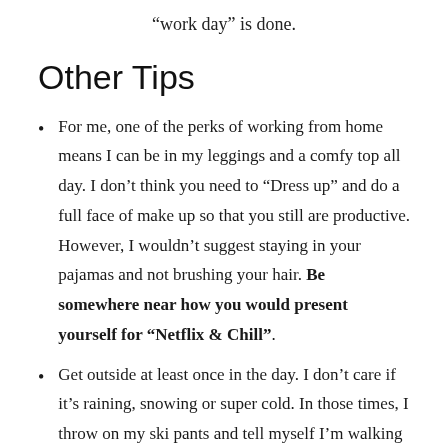“work day” is done.
Other Tips
For me, one of the perks of working from home means I can be in my leggings and a comfy top all day. I don’t think you need to “Dress up” and do a full face of make up so that you still are productive. However, I wouldn’t suggest staying in your pajamas and not brushing your hair. Be somewhere near how you would present yourself for “Netflix & Chill”.
Get outside at least once in the day. I don’t care if it’s raining, snowing or super cold. In those times, I throw on my ski pants and tell myself I’m walking